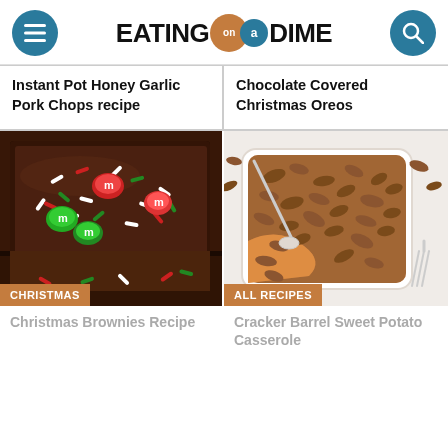EATING on a DIME
Instant Pot Honey Garlic Pork Chops recipe
Chocolate Covered Christmas Oreos
[Figure (photo): Christmas brownies with M&Ms and red/green/white sprinkles on top, chocolate fudge brownie base]
CHRISTMAS
Christmas Brownies Recipe
[Figure (photo): Cracker Barrel Sweet Potato Casserole in white square baking dish topped with pecans, spoon scooping out portion]
ALL RECIPES
Cracker Barrel Sweet Potato Casserole